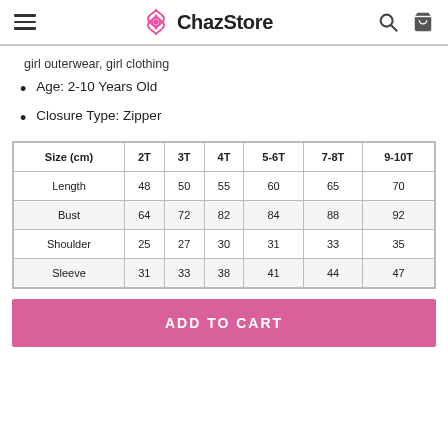ChazStore
girl outerwear, girl clothing
Age: 2-10 Years Old
Closure Type: Zipper
| Size (cm) | 2T | 3T | 4T | 5-6T | 7-8T | 9-10T |
| --- | --- | --- | --- | --- | --- | --- |
| Length | 48 | 50 | 55 | 60 | 65 | 70 |
| Bust | 64 | 72 | 82 | 84 | 88 | 92 |
| Shoulder | 25 | 27 | 30 | 31 | 33 | 35 |
| Sleeve | 31 | 33 | 38 | 41 | 44 | 47 |
ADD TO CART